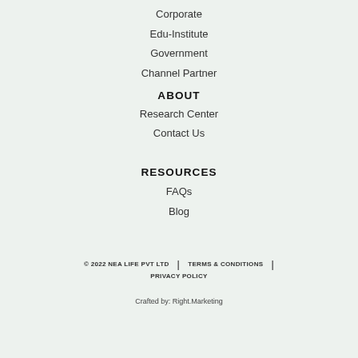Corporate
Edu-Institute
Government
Channel Partner
ABOUT
Research Center
Contact Us
RESOURCES
FAQs
Blog
© 2022 NEA LIFE PVT LTD | TERMS & CONDITIONS | PRIVACY POLICY
Crafted by: Right.Marketing